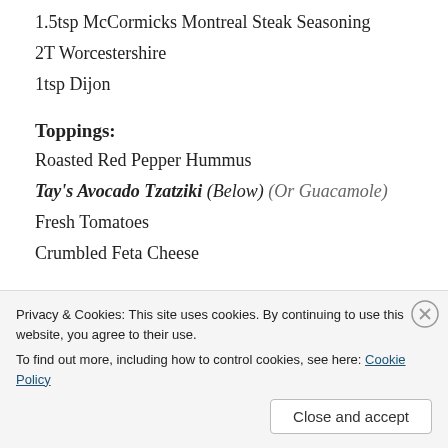1.5tsp McCormicks Montreal Steak Seasoning
2T Worcestershire
1tsp Dijon
Toppings:
Roasted Red Pepper Hummus
Tay's Avocado Tzatziki (Below) (Or Guacamole)
Fresh Tomatoes
Crumbled Feta Cheese
DIRECTIONS: Marinade Chicken 4-8 hours. Toss Potatoes and Artichokes with a lil Oil (We used Olive). Place into Foil. Grill both Chicken
Privacy & Cookies: This site uses cookies. By continuing to use this website, you agree to their use. To find out more, including how to control cookies, see here: Cookie Policy
Close and accept